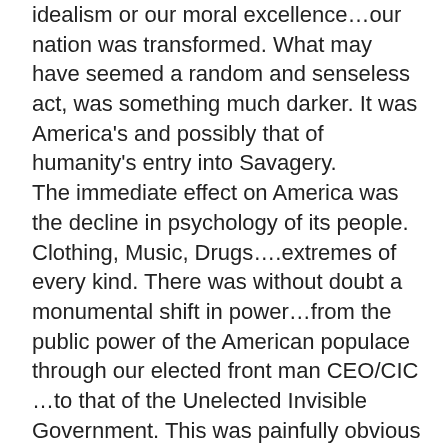idealism or our moral excellence…our nation was transformed. What may have seemed a random and senseless act, was something much darker. It was America's and possibly that of humanity's entry into Savagery. The immediate effect on America was the decline in psychology of its people. Clothing, Music, Drugs….extremes of every kind. There was without doubt a monumental shift in power…from the public power of the American populace through our elected front man CEO/CIC …to that of the Unelected Invisible Government. This was painfully obvious in a subliminal way such that whoever could mastermind the killing of the President of the United States of America and get away with it, could